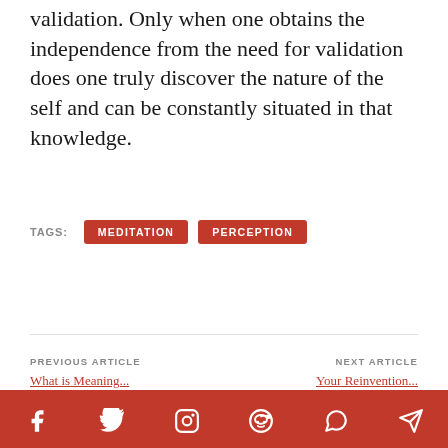validation. Only when one obtains the independence from the need for validation does one truly discover the nature of the self and can be constantly situated in that knowledge.
TAGS: MEDITATION PERCEPTION
PREVIOUS ARTICLE
NEXT ARTICLE
[Figure (other): Social media sharing bar with icons for Facebook, Twitter, Instagram, Reddit, WhatsApp, and Telegram on a red background]